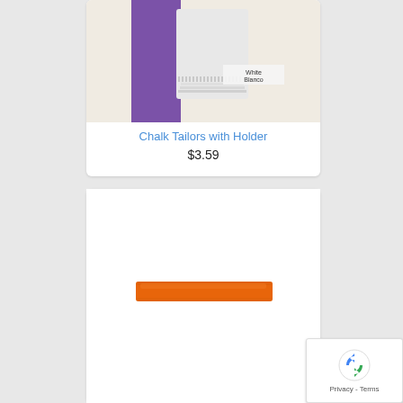[Figure (photo): Product photo of Chalk Tailors with Holder - white chalk piece in purple holder packaging with 'White Blanco' label]
Chalk Tailors with Holder
$3.59
[Figure (photo): Product photo of an orange flat ribbon or elastic band on white background]
[Figure (other): reCAPTCHA badge with Privacy - Terms text]